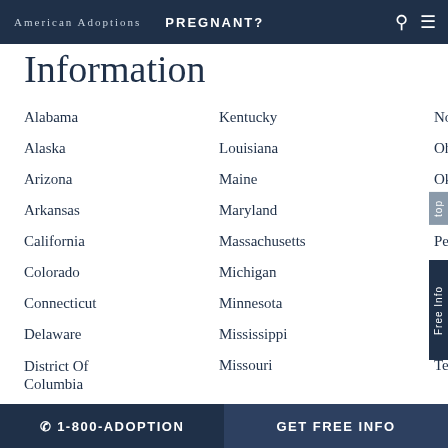American Adoptions  PREGNANT?
Information
Alabama
Alaska
Arizona
Arkansas
California
Colorado
Connecticut
Delaware
District Of Columbia
Florida
Kentucky
Louisiana
Maine
Maryland
Massachusetts
Michigan
Minnesota
Mississippi
Missouri
Montana
Nebraska
North Dakota
Ohio
Oklahoma
Oregon
Pennsylvania
Rhode Island
South Carolina
South Dakota
Tennessee
Texas
Utah
☎ 1-800-ADOPTION   GET FREE INFO